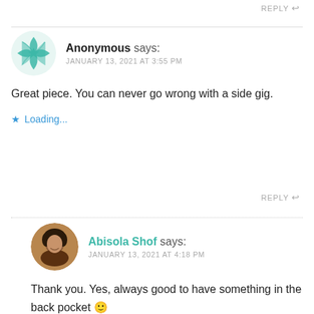REPLY
Anonymous says:
JANUARY 13, 2021 AT 3:55 PM
Great piece. You can never go wrong with a side gig.
Loading...
REPLY
Abisola Shof says:
JANUARY 13, 2021 AT 4:18 PM
Thank you. Yes, always good to have something in the back pocket 🙂